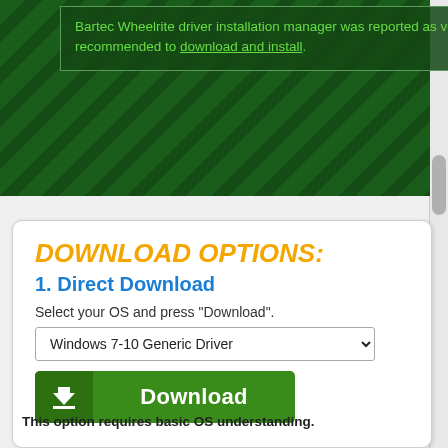Bartec Wheelrite driver installation manager was reported as very satisfying by a large percentage of our reporters, so it is recommended to download and install.
DOWNLOAD OPTIONS:
1. Direct Download
Select your OS and press "Download".
Windows 7-10 Generic Driver
Download
This option requires basic OS understanding.